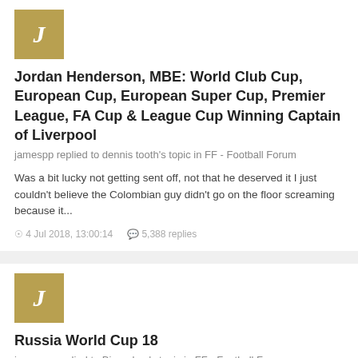[Figure (other): Gold/tan square avatar with italic letter J in white]
Jordan Henderson, MBE: World Club Cup, European Cup, European Super Cup, Premier League, FA Cup & League Cup Winning Captain of Liverpool
jamespp replied to dennis tooth's topic in FF - Football Forum
Was a bit lucky not getting sent off, not that he deserved it I just couldn't believe the Colombian guy didn't go on the floor screaming because it...
4 Jul 2018, 13:00:14   5,388 replies
[Figure (other): Gold/tan square avatar with italic letter J in white]
Russia World Cup 18
jamespp replied to Bjornebye's topic in FF - Football Forum
I wouldn't worry about England, I reckon Putins got this and even if they get past Russia they would lose to France/Uruguay/Brazil